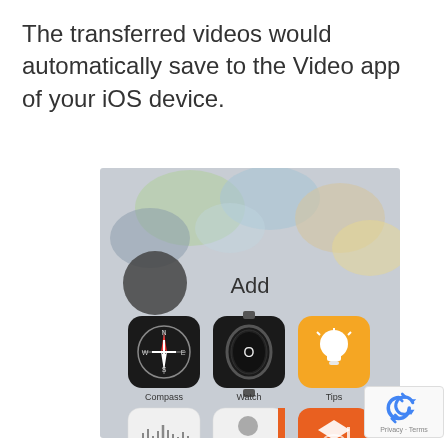The transferred videos would automatically save to the Video app of your iOS device.
[Figure (screenshot): iOS device screen showing app grid with blurred background, featuring apps: Compass, Watch, Tips, Voice Memos, Contacts, iTunes U, and an 'Add' label at top center, with partial view of bottom row apps.]
[Figure (other): reCAPTCHA badge with spinning arrows logo and 'Privacy - Terms' text.]